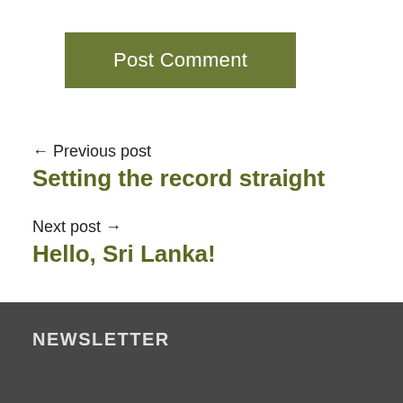[Figure (other): Green 'Post Comment' button]
← Previous post
Setting the record straight
Next post →
Hello, Sri Lanka!
NEWSLETTER